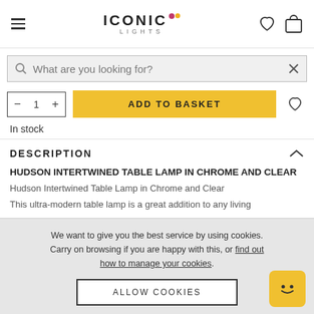ICONIC LIGHTS — navigation header with hamburger, logo, heart and bag icons
What are you looking for?
— 1 +  ADD TO BASKET
In stock
DESCRIPTION
HUDSON INTERTWINED TABLE LAMP IN CHROME AND CLEAR
Hudson Intertwined Table Lamp in Chrome and Clear
This ultra-modern table lamp is a great addition to any living
We want to give you the best service by using cookies. Carry on browsing if you are happy with this, or find out how to manage your cookies.
ALLOW COOKIES